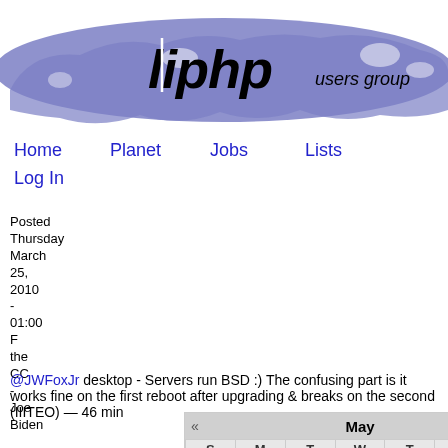[Figure (logo): LIPHP Users Group logo with Long Island map silhouette in blue/purple, with 'liphp users group' text]
Home
Planet
Jobs
Lists
Log In
Posted Thursday March 25, 2010 - 01:00 F the CC -
| S | M | T | W | T | F | S |
| --- | --- | --- | --- | --- | --- | --- |
|  |  |  |  |  |  | 1 |
| 2 | 3 | 4 | 5 | 6 | 7 | 8 |
| 9 | 10 | 11 | 12 | 13 | 14 | 15 |
| 16 | 17 | 18 | 19 | 20 | 21 | 22 |
| 23 | 24 | 25 | 26 | 27 | 28 | 29 |
| 30 | 31 |  |  |  |  |  |
Joe Biden @JWFoxJr desktop - Servers run BSD :) The confusing part is it works fine on the first reboot after upgrading & breaks on the second (IIITEO) — 46 min